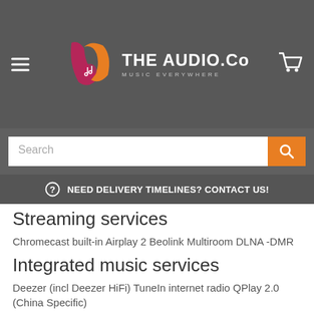THE AUDIO.Co MUSIC EVERYWHERE
Search
NEED DELIVERY TIMELINES? CONTACT US!
Streaming services
Chromecast built-in Airplay 2 Beolink Multiroom DLNA -DMR
Integrated music services
Deezer (incl Deezer HiFi) TuneIn internet radio QPlay 2.0 (China Specific)
Inputs and outputs